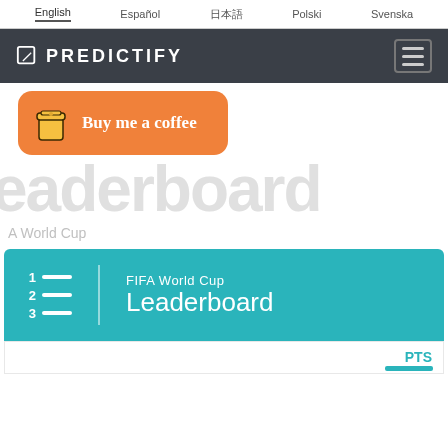English  Español  日本語  Polski  Svenska
PREDICTIFY
[Figure (illustration): Orange rounded rectangle button with coffee cup icon and 'Buy me a coffee' cursive text]
Leaderboard
A World Cup
[Figure (infographic): Teal card with numbered list icon (1,2,3 with horizontal lines), vertical divider, and text 'FIFA World Cup Leaderboard']
|  | PTS |
| --- | --- |